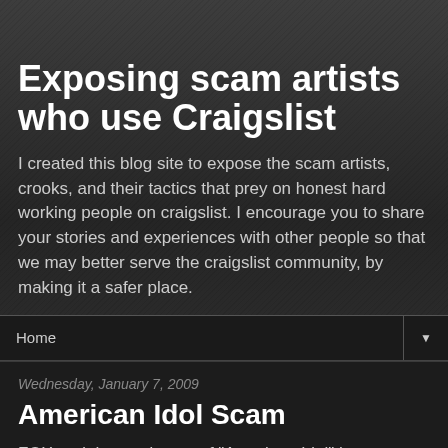Exposing scam artists who use Craigslist
I created this blog site to expose the scam artists, crooks, and their tactics that prey on honest hard working people on craigslist. I encourage you to share your stories and experiences with other people so that we may better serve the craigslist community, by making it a safer place.
Home
Wednesday, January 7, 2009
American Idol Scam
FOX and the producers of "American Idol" have received information about a mail fraud scam using sweepstakes